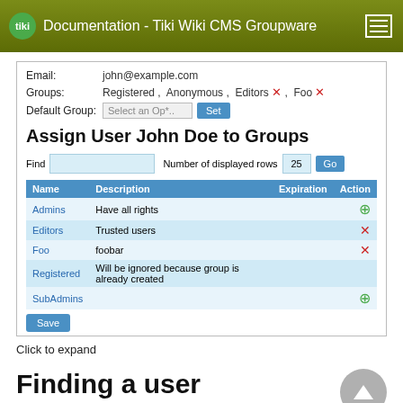Documentation - Tiki Wiki CMS Groupware
[Figure (screenshot): User form showing Email, Groups (Registered, Anonymous, Editors with red X, Foo with red X), Default Group with Select dropdown and Set button, followed by Assign User John Doe to Groups section with a table listing Admins, Editors, Foo, Registered, SubAdmins groups with Description, Expiration, and Action columns. Save button at bottom.]
Click to expand
Finding a user
In the user management module there is a field where you